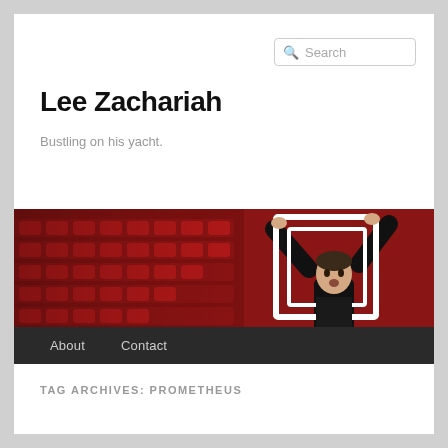Search
Lee Zachariah
Bustling on his yacht.
[Figure (photo): Banner image showing red cinema seats on the left and a man holding a white geometric frame above his head on the right, against a dark red background. Navigation bar below with About and Contact links.]
TAG ARCHIVES: PROMETHEUS